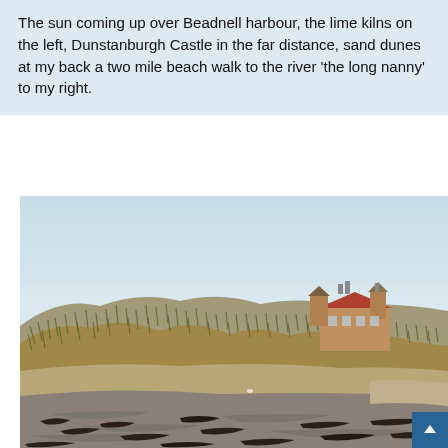The sun coming up over Beadnell harbour, the lime kilns on the left, Dunstanburgh Castle in the far distance, sand dunes at my back a two mile beach walk to the river 'the long nanny' to my right.
[Figure (photo): Photograph of Beadnell harbour area showing sandy beach with scattered dark seaweed in the foreground, large grassy sand dunes in the middle ground, and a stone house with red roof and tower visible above the dune line on the right. Clear pale blue sky above.]